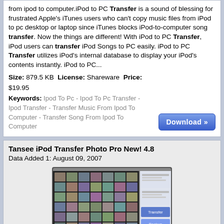from ipod to computer.iPod to PC Transfer is a sound of blessing for frustrated Apple's iTunes users who can't copy music files from iPod to pc desktop or laptop since iTunes blocks iPod-to-computer song transfer. Now the things are different! With iPod to PC Transfer, iPod users can transfer iPod Songs to PC easily. iPod to PC Transfer utilizes iPod's internal database to display your iPod's contents instantly. iPod to PC...
Size: 879.5 KB License: Shareware Price: $19.95
Keywords: Ipod To Pc - Ipod To Pc Transfer - Ipod Transfer - Transfer Music From Ipod To Computer - Transfer Song From Ipod To Computer
[Figure (other): Download button]
Tansee iPod Transfer Photo Pro New! 4.8
Data Added 1: August 09, 2007
[Figure (screenshot): Screenshot of Tansee iPod Transfer Photo Pro software interface showing a grid of photo thumbnails]
Tansee iPod transfer photo is the ultimate backup, recovery and sharing tool for your iPod Photos. Recover your souvenirs in just a few clicks and share them on other's computers. Tansee iPod transfer photo lets you backup copy, download and transfer you iPod photos on any computer.Tansee iPod Transfer Photo is a sound of blessing for frustrated Apple's iTunes users who can't copy photos from iPod to pc desktop or laptop since iTunes blocks iPod-to-computer photos.